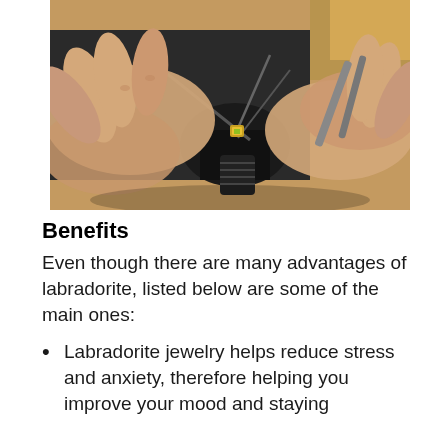[Figure (photo): Close-up photograph of hands working on jewelry crafting, holding a gemstone with metal tools over a dark vise or jewelry clamp on a wooden workbench background.]
Benefits
Even though there are many advantages of labradorite, listed below are some of the main ones:
Labradorite jewelry helps reduce stress and anxiety, therefore helping you improve your mood and staying